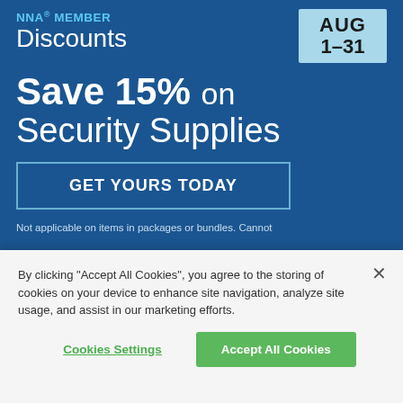[Figure (infographic): NNA Member Discounts promotional banner with dark blue background showing 'Save 15% on Security Supplies' offer valid AUG 1-31, with a GET YOURS TODAY button and disclaimer text at bottom]
By clicking “Accept All Cookies”, you agree to the storing of cookies on your device to enhance site navigation, analyze site usage, and assist in our marketing efforts.
Cookies Settings
Accept All Cookies